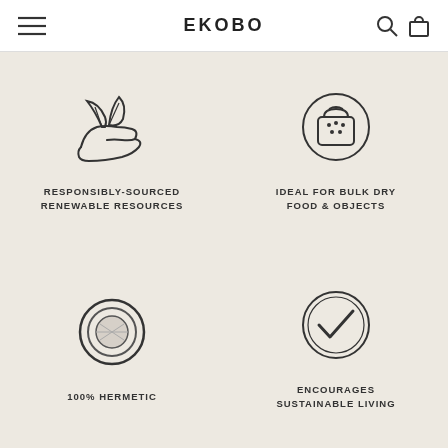EKOBO
[Figure (illustration): Hand holding two leaves icon - responsibly-sourced renewable resources]
RESPONSIBLY-SOURCED
RENEWABLE RESOURCES
[Figure (illustration): Circle icon with a bag/sack - ideal for bulk dry food and objects]
IDEAL FOR BULK DRY
FOOD & OBJECTS
[Figure (illustration): Circle icon with a disc/seal inside - 100% hermetic]
100% HERMETIC
[Figure (illustration): Circle icon with a checkmark - encourages sustainable living]
ENCOURAGES
SUSTAINABLE LIVING